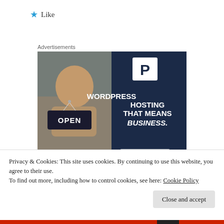★ Like
Advertisements
[Figure (photo): WordPress hosting advertisement showing a woman holding an OPEN sign, with dark blue panel reading WORDPRESS HOSTING THAT MEANS BUSINESS. and a LEARN MORE button, with a Pressable P logo.]
Privacy & Cookies: This site uses cookies. By continuing to use this website, you agree to their use.
To find out more, including how to control cookies, see here: Cookie Policy
Close and accept